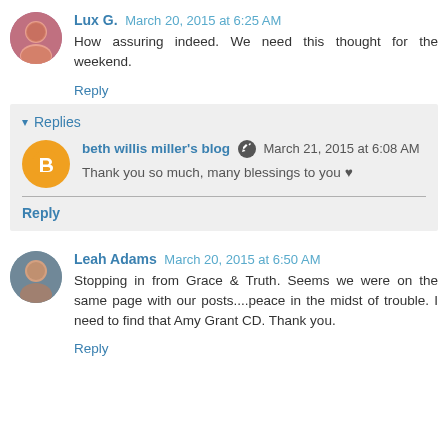[Figure (photo): Avatar photo of Lux G., a woman with dark hair]
Lux G. March 20, 2015 at 6:25 AM
How assuring indeed. We need this thought for the weekend.
Reply
Replies
[Figure (logo): Blogger orange circle logo icon]
beth willis miller's blog March 21, 2015 at 6:08 AM
Thank you so much, many blessings to you ♥
Reply
[Figure (photo): Avatar photo of Leah Adams]
Leah Adams March 20, 2015 at 6:50 AM
Stopping in from Grace & Truth. Seems we were on the same page with our posts....peace in the midst of trouble. I need to find that Amy Grant CD. Thank you.
Reply